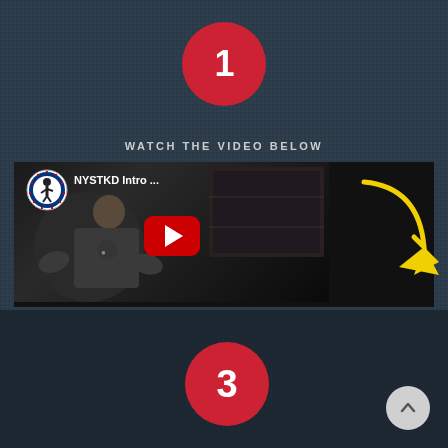[Figure (infographic): Step 1 red circle badge with number 1, dark textured background]
WATCH THE VIDEO BELOW
[Figure (screenshot): YouTube video thumbnail for NYSTKD Intro video with red play button, instructor standing in front of board, NYSTKD badge logo visible. Curved yellow arrow pointing right/down beside the video.]
[Figure (infographic): Step 3 red circle badge with number 3, dark textured background bottom section]
[Figure (other): White circular scroll-to-top button with upward chevron arrow, bottom right corner]